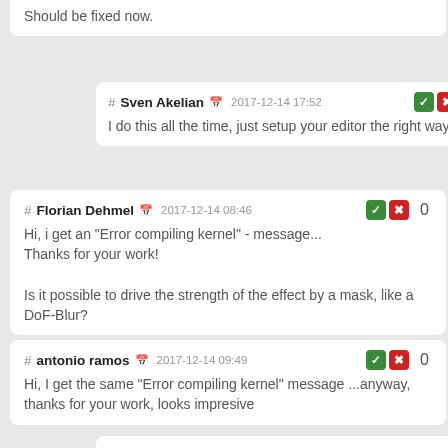Should be fixed now.
# Sven Akelian 2017-12-14 17:52 0
I do this all the time, just setup your editor the right way...
# Florian Dehmel 2017-12-14 08:46 0
Hi, i get an "Error compiling kernel" - message...
Thanks for your work!

Is it possible to drive the strength of the effect by a mask, like a DoF-Blur?
# antonio ramos 2017-12-14 09:49 0
Hi, I get the same "Error compiling kernel" message ...anyway, thanks for your work, looks impresive
# Mads Hagbarth Damsbo 2017-12-14 12:02 0
Quoting Florian Dehmel:
Hi, i get an "Error compiling kernel" - message...